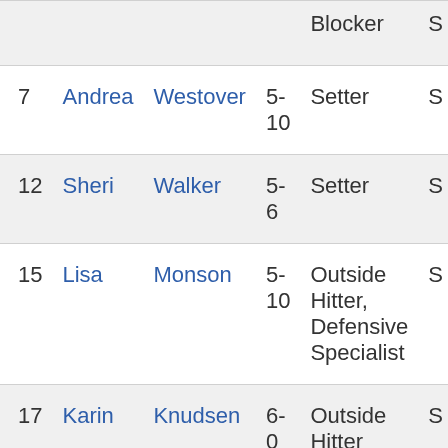| # | First | Last | Ht | Position |  |
| --- | --- | --- | --- | --- | --- |
|  |  |  |  | Blocker | S |
| 7 | Andrea | Westover | 5-10 | Setter | S |
| 12 | Sheri | Walker | 5-6 | Setter | S |
| 15 | Lisa | Monson | 5-10 | Outside Hitter, Defensive Specialist | S |
| 17 | Karin | Knudsen | 6-0 | Outside Hitter | S |